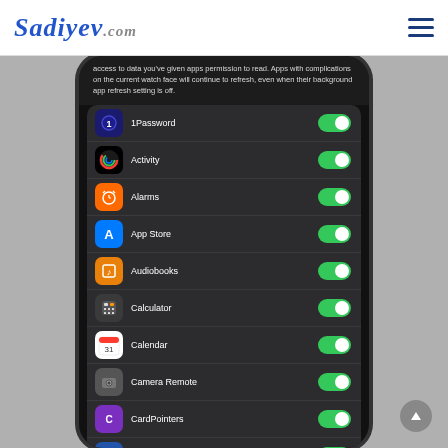Sadiyev.com
[Figure (screenshot): iPhone settings screen showing Background App Refresh toggle list with apps: 1Password (on), Activity (on), Alarms (on), App Store (on), Audiobooks (on), Calculator (on), Calendar (on), Camera Remote (on), CardPointers (on), Cheep (on), Compass (on). All toggles are green/enabled.]
access to data you've given apps permission to read. Apps with complications on the current watch face will continue to refresh, even when their background app refresh setting is off.